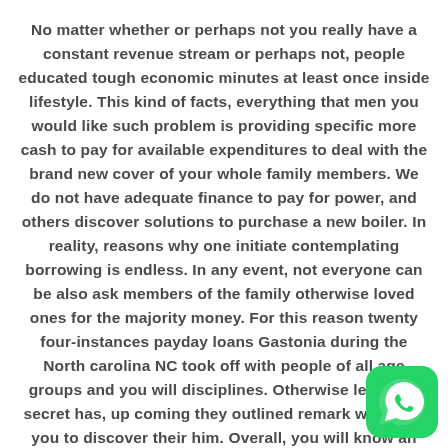No matter whether or perhaps not you really have a constant revenue stream or perhaps not, people educated tough economic minutes at least once inside lifestyle. This kind of facts, everything that men you would like such problem is providing specific more cash to pay for available expenditures to deal with the brand new cover of your whole family members. We do not have adequate finance to pay for power, and others discover solutions to purchase a new boiler. In reality, reasons why one initiate contemplating borrowing is endless. In any event, not everyone can be also ask members of the family otherwise loved ones for the majority money. For this reason twenty four-instances payday loans Gastonia during the North carolina NC took off with people of all age groups and you will disciplines. Otherwise learn the secret has, up coming they outlined remark will allow you to discover their him. Overall, you will know an element of the standar
[Figure (logo): WhatsApp logo icon — green rounded square with white phone handset symbol]